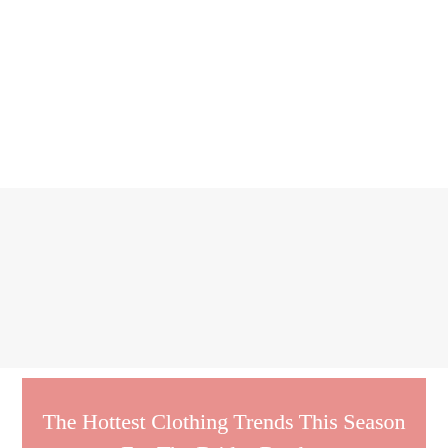[Figure (screenshot): Top white area of a webpage]
≡  LOGIN
The Hottest Clothing Trends This Season For The Brides Brother